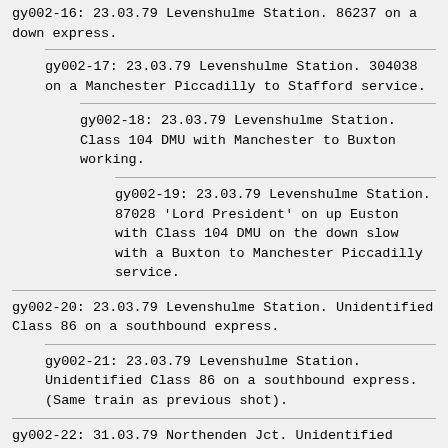gy002-16: 23.03.79 Levenshulme Station. 86237 on a down express.
gy002-17: 23.03.79 Levenshulme Station. 304038 on a Manchester Piccadilly to Stafford service.
gy002-18: 23.03.79 Levenshulme Station. Class 104 DMU with Manchester to Buxton working.
gy002-19: 23.03.79 Levenshulme Station. 87028 'Lord President' on up Euston with Class 104 DMU on the down slow with a Buxton to Manchester Piccadilly service.
gy002-20: 23.03.79 Levenshulme Station. Unidentified Class 86 on a southbound express.
gy002-21: 23.03.79 Levenshulme Station. Unidentified Class 86 on a southbound express. (Same train as previous shot).
gy002-22: 31.03.79 Northenden Jct. Unidentified Class 86...